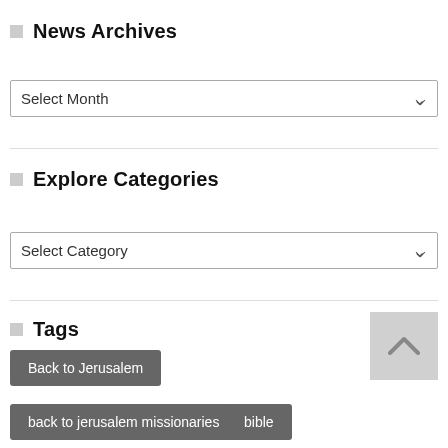News Archives
[Figure (other): Select Month dropdown box]
Explore Categories
[Figure (other): Select Category dropdown box]
Tags
Back to Jerusalem
back to jerusalem missionaries
bible